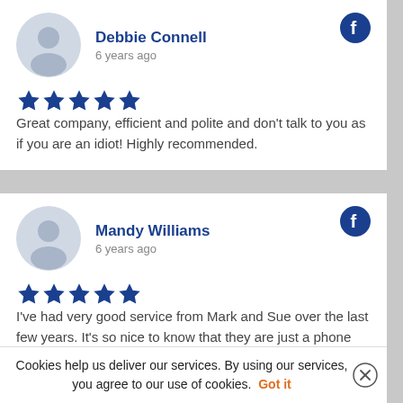Debbie Connell
6 years ago
Great company, efficient and polite and don't talk to you as if you are an idiot! Highly recommended.
Mandy Williams
6 years ago
I've had very good service from Mark and Sue over the last few years. It's so nice to know that they are just a phone call away. Would not hesitate to recommend them!
Cookies help us deliver our services. By using our services, you agree to our use of cookies. Got it